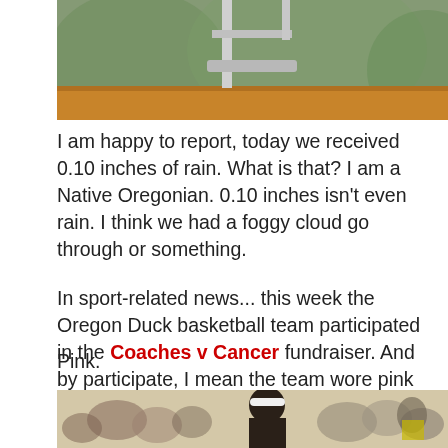[Figure (photo): Top portion of a basketball hoop/backboard, close-up shot with blurred background showing trees]
I am happy to report, today we received 0.10 inches of rain. What is that? I am a Native Oregonian. 0.10 inches isn't even rain. I think we had a foggy cloud go through or something.
In sport-related news... this week the Oregon Duck basketball team participated in the Coaches v Cancer fundraiser. And by participate, I mean the team wore pink uniforms.
Pink.
[Figure (photo): Basketball game scene showing a player with a white headband on court, crowd visible in background]